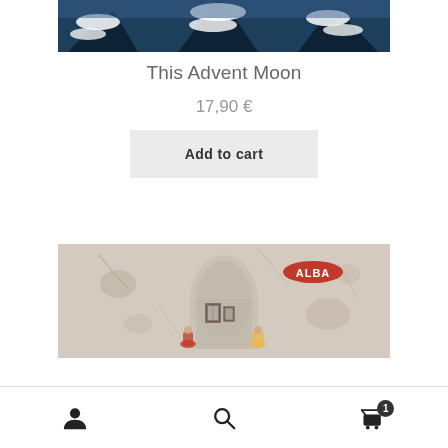[Figure (photo): Product image showing snow-covered pine trees against a dark blue sky, top portion of an album/product cover]
This Advent Moon
17,90 €
Add to cart
[Figure (photo): Product image of an album cover titled ALBA, showing a whitewashed wall with an arched niche containing small framed pictures, and colorful figurines below]
User account | Search | Cart (1 item)